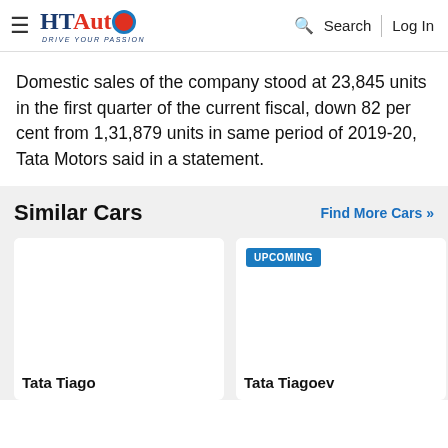HT Auto — Drive Your Passion | Search | Log In
Domestic sales of the company stood at 23,845 units in the first quarter of the current fiscal, down 82 per cent from 1,31,879 units in same period of 2019-20, Tata Motors said in a statement.
Similar Cars
Find More Cars >>
[Figure (photo): Car card: Tata Tiago — white card with car image area]
Tata Tiago
[Figure (photo): Car card: Tata Tiagoev — white card with UPCOMING badge and car image area]
Tata Tiagoev
[Figure (photo): Car card: partially visible third car — Tata ...]